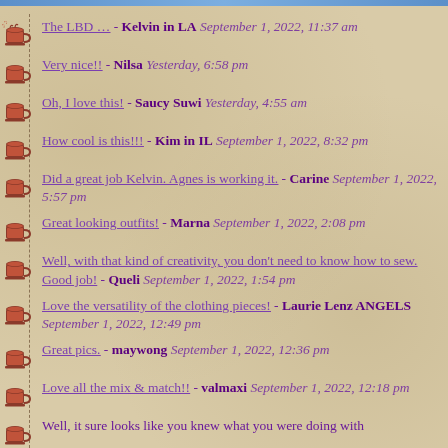The LBD … - Kelvin in LA September 1, 2022, 11:37 am
Very nice!! - Nilsa Yesterday, 6:58 pm
Oh, I love this! - Saucy Suwi Yesterday, 4:55 am
How cool is this!!! - Kim in IL September 1, 2022, 8:32 pm
Did a great job Kelvin. Agnes is working it. - Carine September 1, 2022, 5:57 pm
Great looking outfits! - Marna September 1, 2022, 2:08 pm
Well, with that kind of creativity, you don't need to know how to sew. Good job! - Queli September 1, 2022, 1:54 pm
Love the versatility of the clothing pieces! - Laurie Lenz ANGELS September 1, 2022, 12:49 pm
Great pics. - maywong September 1, 2022, 12:36 pm
Love all the mix & match!! - valmaxi September 1, 2022, 12:18 pm
Well, it sure looks like you knew what you were doing with